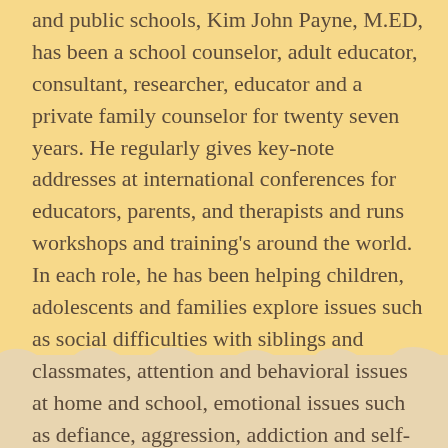and public schools, Kim John Payne, M.ED, has been a school counselor, adult educator, consultant, researcher, educator and a private family counselor for twenty seven years. He regularly gives key-note addresses at international conferences for educators, parents, and therapists and runs workshops and training's around the world. In each role, he has been helping children, adolescents and families explore issues such as social difficulties with siblings and classmates, attention and behavioral issues at home and school, emotional issues such as defiance, aggression, addiction and self-esteem and the vital role living a balanced simple life brings.